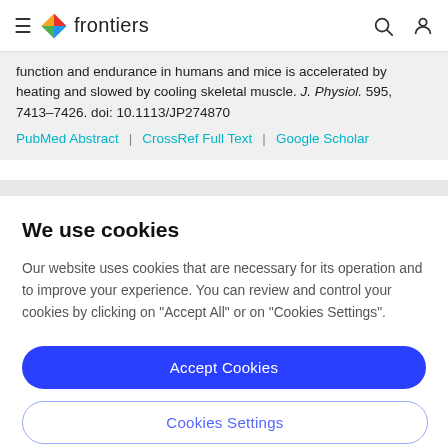frontiers
function and endurance in humans and mice is accelerated by heating and slowed by cooling skeletal muscle. J. Physiol. 595, 7413–7426. doi: 10.1113/JP274870
PubMed Abstract | CrossRef Full Text | Google Scholar
We use cookies
Our website uses cookies that are necessary for its operation and to improve your experience. You can review and control your cookies by clicking on "Accept All" or on "Cookies Settings".
Accept Cookies
Cookies Settings